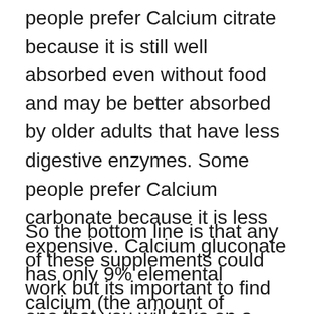people prefer Calcium citrate because it is still well absorbed even without food and may be better absorbed by older adults that have less digestive enzymes. Some people prefer Calcium carbonate because it is less expensive. Calcium gluconate has only 9% elemental calcium (the amount of calcium that can actually be absorbed) so it takes a larger volume to get the same amount of calcium.
So the bottom line is that any of these supplements could work but its important to find one that you will take on a regular basis. The RDA for